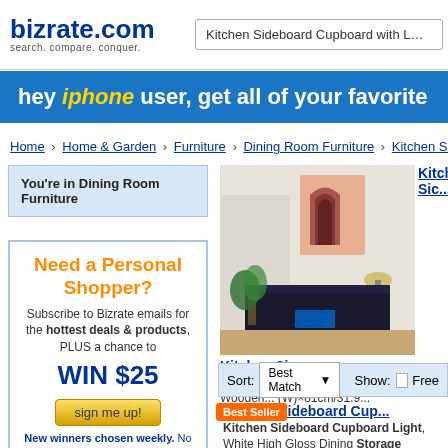[Figure (logo): Bizrate.com logo with tagline 'search. compare. conquer.']
Kitchen Sideboard Cupboard with LED Light,
hey iphone user, get all of your favorite
Home › Home & Garden › Furniture › Dining Room Furniture › Kitchen Sidebo...
You're in Dining Room Furniture
[Figure (photo): Kitchen sideboard cupboard with LED light in a modern living room setting]
Kitchen Sic... Kitchen Sidebo... Storage Cabin... Doors Wooden... (W)×81cm/31.9...
Need a Personal Shopper? Subscribe to Bizrate emails for the hottest deals & products, PLUS a chance to WIN $25 sign me up! New winners chosen weekly. No
Sort: Best Match   Show: □ Free
Kitchen Sideboard Cup...
Kitchen Sideboard Cupboard Light, White High Gloss Dining Storage Cabinet Hallway Livi... Stand Unit Display Cabinet wi...